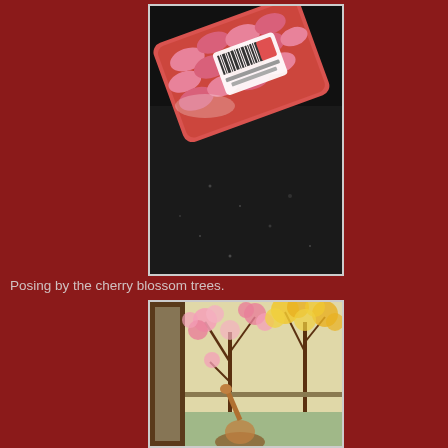[Figure (photo): A red plastic tray/container holding pink/red oval-shaped items (possibly meat or candy), with a white label/barcode sticker on top, placed on a dark granite or stone surface.]
Posing by the cherry blossom trees.
[Figure (photo): Cherry blossom trees with pink and yellow flowers visible through a window or door frame, with a person partially visible at the bottom of the frame.]